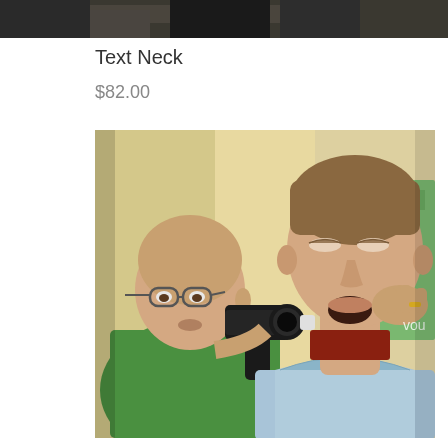[Figure (photo): Top portion of a photo showing what appears to be a person's torso in a light blue shirt, cropped at the top of the page]
Text Neck
$82.00
[Figure (photo): Medical or clinical photo showing an older man in a green polo shirt using a handheld medical device near the neck of a younger man in a light blue shirt who has his mouth open. The younger man has his head tilted back slightly while the practitioner examines his neck area.]